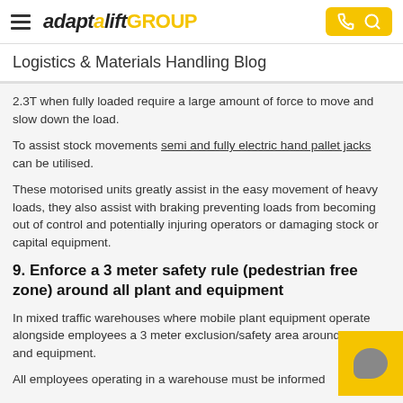adaptalift GROUP — Logistics & Materials Handling Blog
2.3T when fully loaded require a large amount of force to move and slow down the load.
To assist stock movements semi and fully electric hand pallet jacks can be utilised.
These motorised units greatly assist in the easy movement of heavy loads, they also assist with braking preventing loads from becoming out of control and potentially injuring operators or damaging stock or capital equipment.
9. Enforce a 3 meter safety rule (pedestrian free zone) around all plant and equipment
In mixed traffic warehouses where mobile plant equipment operate alongside employees a 3 meter exclusion/safety area around all plant and equipment.
All employees operating in a warehouse must be informed